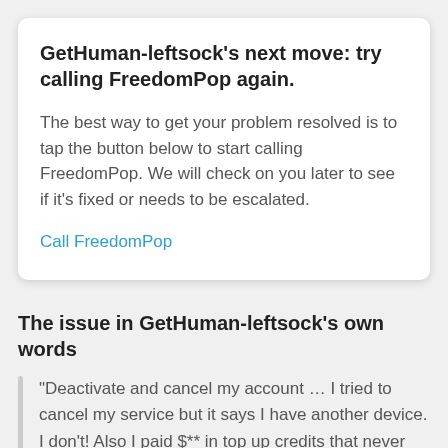GetHuman-leftsock's next move: try calling FreedomPop again.
The best way to get your problem resolved is to tap the button below to start calling FreedomPop. We will check on you later to see if it's fixed or needs to be escalated.
Call FreedomPop
The issue in GetHuman-leftsock's own words
"Deactivate and cancel my account … I tried to cancel my service but it says I have another device. I don't! Also I paid $** in top up credits that never posted to my account but when I